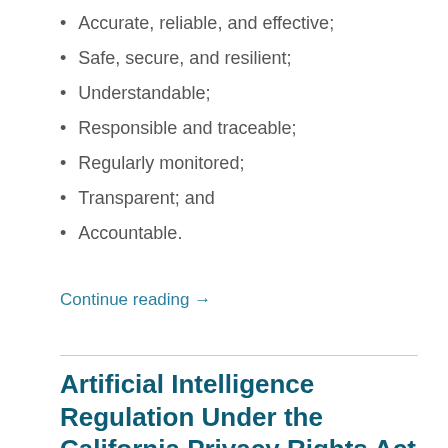Accurate, reliable, and effective;
Safe, secure, and resilient;
Understandable;
Responsible and traceable;
Regularly monitored;
Transparent; and
Accountable.
Continue reading →
Artificial Intelligence Regulation Under the California Privacy Rights Act
DECEMBER 2, 2020